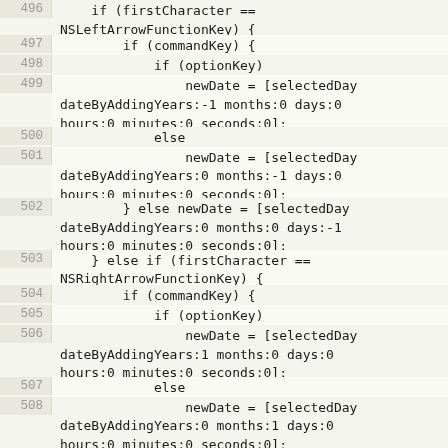496    if (firstCharacter == NSLeftArrowFunctionKey) {
497        if (commandKey) {
498            if (optionKey)
499                newDate = [selectedDay dateByAddingYears:-1 months:0 days:0 hours:0 minutes:0 seconds:0];
500            else
501                newDate = [selectedDay dateByAddingYears:0 months:-1 days:0 hours:0 minutes:0 seconds:0];
502        } else newDate = [selectedDay dateByAddingYears:0 months:0 days:-1 hours:0 minutes:0 seconds:0];
503    } else if (firstCharacter == NSRightArrowFunctionKey) {
504        if (commandKey) {
505            if (optionKey)
506                newDate = [selectedDay dateByAddingYears:1 months:0 days:0 hours:0 minutes:0 seconds:0];
507            else
508                newDate = [selectedDay dateByAddingYears:0 months:1 days:0 hours:0 minutes:0 seconds:0];